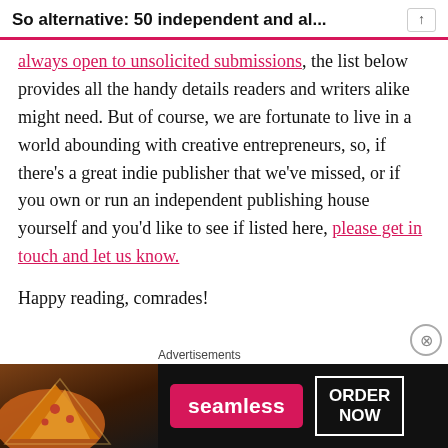So alternative: 50 independent and al...
always open to unsolicited submissions, the list below provides all the handy details readers and writers alike might need. But of course, we are fortunate to live in a world abounding with creative entrepreneurs, so, if there's a great indie publisher that we've missed, or if you own or run an independent publishing house yourself and you'd like to see if listed here, please get in touch and let us know.
Happy reading, comrades!
[Figure (other): Seamless food delivery advertisement banner with pizza image, Seamless logo in red, and ORDER NOW button]